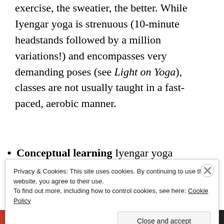exercise, the sweatier, the better. While Iyengar yoga is strenuous (10-minute headstands followed by a million variations!) and encompasses very demanding poses (see Light on Yoga), classes are not usually taught in a fast-paced, aerobic manner.
Conceptual learning Iyengar yoga…
Privacy & Cookies: This site uses cookies. By continuing to use this website, you agree to their use. To find out more, including how to control cookies, see here: Cookie Policy